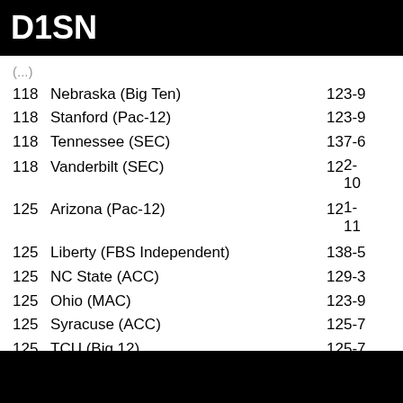D1SN
| Rank | School | G | Record |
| --- | --- | --- | --- |
| 118 | Nebraska (Big Ten) | 12 | 3-9 |
| 118 | Stanford (Pac-12) | 12 | 3-9 |
| 118 | Tennessee (SEC) | 13 | 7-6 |
| 118 | Vanderbilt (SEC) | 12 | 2-10 |
| 125 | Arizona (Pac-12) | 12 | 1-11 |
| 125 | Liberty (FBS Independent) | 13 | 8-5 |
| 125 | NC State (ACC) | 12 | 9-3 |
| 125 | Ohio (MAC) | 12 | 3-9 |
| 125 | Syracuse (ACC) | 12 | 5-7 |
| 125 | TCU (Big 12) | 12 | 5-7 |